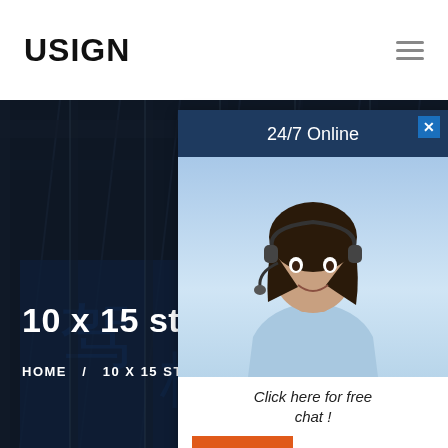USIGN
[Figure (photo): Dark industrial/warehouse interior with steel beams and large blue signage, heavily darkened with overlay. Serves as hero background image.]
10 x 15 stone poly vin
HOME  /  10 X 15 STONE POLY VINY
[Figure (photo): Chat popup widget showing a woman with headset on a blue background, with '24/7 Online' header, 'Click here for free chat!' text, and an orange QUOTATION button.]